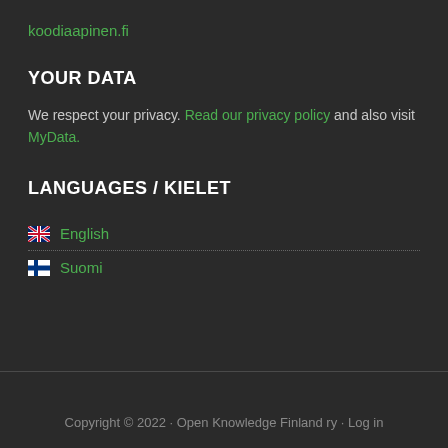koodiaapinen.fi
YOUR DATA
We respect your privacy. Read our privacy policy and also visit MyData.
LANGUAGES / KIELET
🇬🇧 English
🇫🇮 Suomi
Copyright © 2022 · Open Knowledge Finland ry · Log in